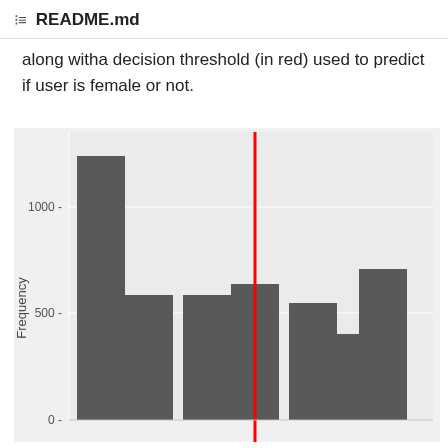README.md
along witha decision threshold (in red) used to predict if user is female or not.
[Figure (histogram): Histogram showing frequency distribution with a vertical red decision threshold line]